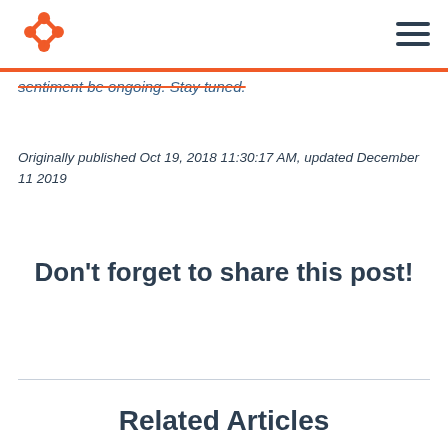HubSpot logo and navigation menu
sentiment be ongoing. Stay tuned.
Originally published Oct 19, 2018 11:30:17 AM, updated December 11 2019
Don't forget to share this post!
Related Articles